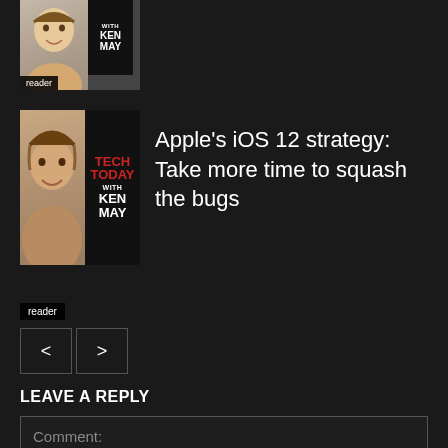[Figure (screenshot): Partially visible podcast thumbnail with person photo and 'reader' label and 'with KEN MAY' badge]
[Figure (screenshot): Podcast thumbnail with person photo, TECH TODAY with KEN MAY badge in red/white, and reader label]
Apple's iOS 12 strategy: Take more time to squash the bugs
LEAVE A REPLY
Comment: